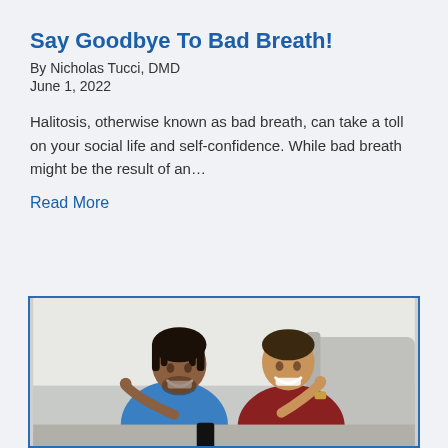Say Goodbye To Bad Breath!
By Nicholas Tucci, DMD
June 1, 2022
Halitosis, otherwise known as bad breath, can take a toll on your social life and self-confidence. While bad breath might be the result of an…
Read More
[Figure (photo): Two smiling young men sitting together, both pointing to their cheeks/teeth. One wearing a blue t-shirt, one wearing a dark red/maroon t-shirt. Background shows a white couch and light interior setting.]